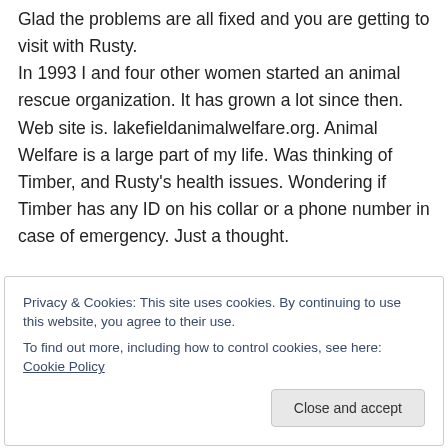Glad the problems are all fixed and you are getting to visit with Rusty. In 1993 I and four other women started an animal rescue organization. It has grown a lot since then. Web site is. lakefieldanimalwelfare.org. Animal Welfare is a large part of my life. Was thinking of Timber, and Rusty's health issues. Wondering if Timber has any ID on his collar or a phone number in case of emergency. Just a thought.
Privacy & Cookies: This site uses cookies. By continuing to use this website, you agree to their use. To find out more, including how to control cookies, see here: Cookie Policy